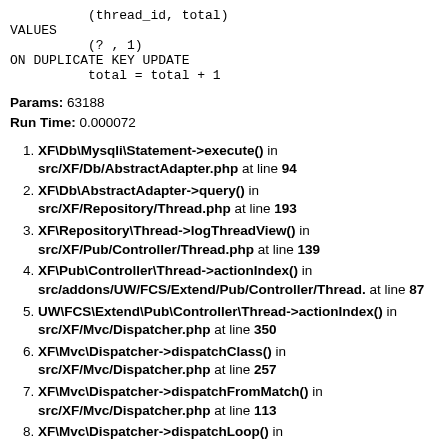Params: 63188
Run Time: 0.000072
1. XF\Db\Mysqli\Statement->execute() in src/XF/Db/AbstractAdapter.php at line 94
2. XF\Db\AbstractAdapter->query() in src/XF/Repository/Thread.php at line 193
3. XF\Repository\Thread->logThreadView() in src/XF/Pub/Controller/Thread.php at line 139
4. XF\Pub\Controller\Thread->actionIndex() in src/addons/UW/FCS/Extend/Pub/Controller/Thread. at line 87
5. UW\FCS\Extend\Pub\Controller\Thread->actionIndex() in src/XF/Mvc/Dispatcher.php at line 350
6. XF\Mvc\Dispatcher->dispatchClass() in src/XF/Mvc/Dispatcher.php at line 257
7. XF\Mvc\Dispatcher->dispatchFromMatch() in src/XF/Mvc/Dispatcher.php at line 113
8. XF\Mvc\Dispatcher->dispatchLoop() in